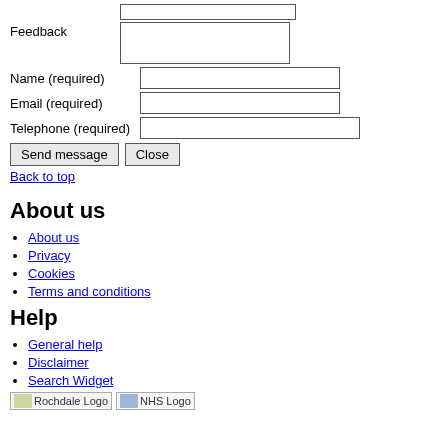Feedback [textarea] Name (required) [input] Email (required) [input] Telephone (required) [input]
Send message  Close
Back to top
About us
About us
Privacy
Cookies
Terms and conditions
Help
General help
Disclaimer
Search Widget
[Figure (logo): Rochdale Logo and NHS Logo at bottom of page]